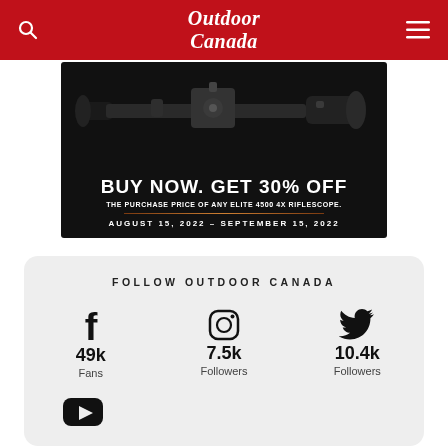Outdoor Canada
[Figure (photo): Advertisement for Bushnell Elite 4500 4x Riflescope showing the scope on a black background with text: BUY NOW. GET 30% OFF THE PURCHASE PRICE OF ANY ELITE 4500 4X RIFLESCOPE. AUGUST 15, 2022 – SEPTEMBER 15, 2022]
FOLLOW OUTDOOR CANADA
49k Fans (Facebook), 7.5k Followers (Instagram), 10.4k Followers (Twitter), YouTube (subscribers shown below)